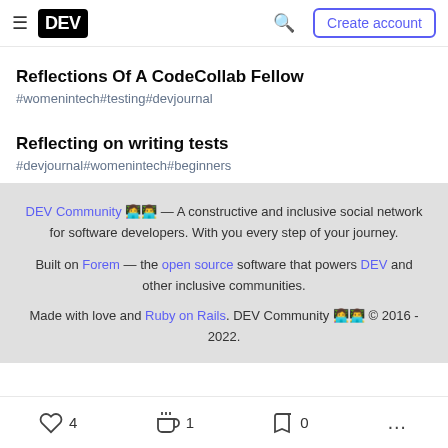DEV — Create account (navigation bar)
Reflections Of A CodeCollab Fellow
#womenintech #testing #devjournal
Reflecting on writing tests
#devjournal #womenintech #beginners
DEV Community 👩‍💻👨‍💻 — A constructive and inclusive social network for software developers. With you every step of your journey. Built on Forem — the open source software that powers DEV and other inclusive communities. Made with love and Ruby on Rails. DEV Community 👩‍💻👨‍💻 © 2016 - 2022.
♡ 4   〽 1   🔖 0   ...